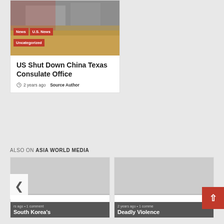[Figure (photo): News article card with image of a storefront/building with tags: News, U.S. News, Uncategorized]
US Shut Down China Texas Consulate Office
2 years ago  Source Author
ALSO ON ASIA WORLD MEDIA
[Figure (photo): Also on card - South Korea's article thumbnail with meta: ...rs ago • 1 comment]
[Figure (photo): Also on card - Deadly Violence article thumbnail with meta: 2 years ago • 1 comment]